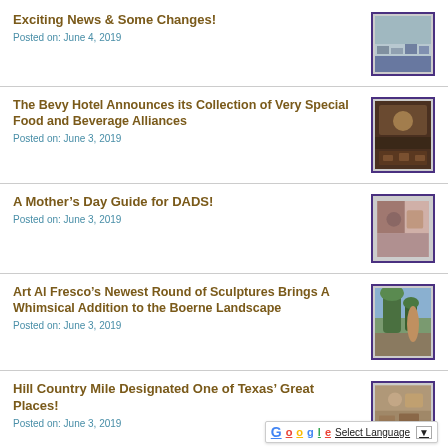Exciting News & Some Changes!
Posted on: June 4, 2019
[Figure (photo): Thumbnail image for Exciting News & Some Changes post]
The Bevy Hotel Announces its Collection of Very Special Food and Beverage Alliances
Posted on: June 3, 2019
[Figure (photo): Thumbnail image for The Bevy Hotel post]
A Mother's Day Guide for DADS!
Posted on: June 3, 2019
[Figure (photo): Thumbnail image for Mother's Day Guide post]
Art Al Fresco's Newest Round of Sculptures Brings A Whimsical Addition to the Boerne Landscape
Posted on: June 3, 2019
[Figure (photo): Thumbnail image for Art Al Fresco post]
Hill Country Mile Designated One of Texas' Great Places!
Posted on: June 3, 2019
[Figure (photo): Thumbnail image for Hill Country Mile post]
Select Language